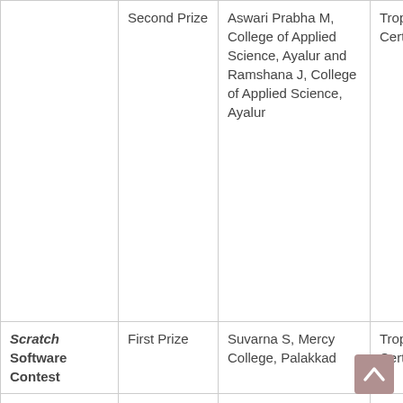|  | Second Prize | Aswari Prabha M, College of Applied Science, Ayalur and Ramshana J, College of Applied Science, Ayalur | Trophy, Certificate |
| Scratch Software Contest | First Prize | Suvarna S, Mercy College, Palakkad | Trophy, Certificate |
|  | Second Prize | Gayathri U M, Mercy | Trophy, Certificate |